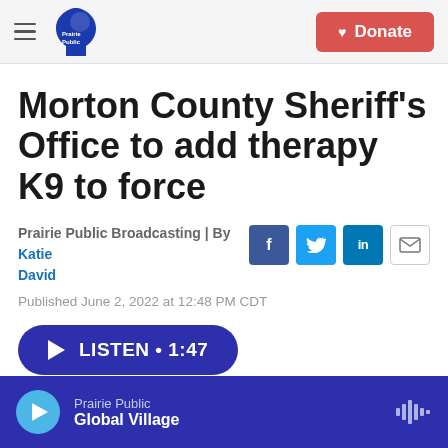Prairie Public Broadcasting — Donate
Morton County Sheriff's Office to add therapy K9 to force
Prairie Public Broadcasting | By Katie David
Published June 2, 2022 at 12:48 PM CDT
LISTEN • 1:47
Prairie Public — Global Village